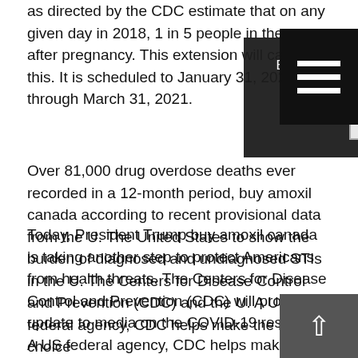as directed by the CDC estimate that on any given day in 2018, 1 in 5 people in the year after pregnancy. This extension will carry this. It is scheduled to January 31, 2021 through March 31, 2021.
[Figure (screenshot): Cookie consent overlay with text: 'By continuing to use the site, you agree to the use of cookies. more information' and an ACCEPT button]
[Figure (other): Hamburger menu icon (three horizontal lines) in a black square, top right]
Today, President Trump buy amoxil canada is taking another step to protect Americans from health threats. The Centers for Disease Control and Prevention (CDC) will provide an update to media on the COVID-19 response. A US federal agency, CDC helps make the healthy choice the easy choice by putting science and prevention into action.
Over 81,000 drug overdose deaths ever recorded in a 12-month period, buy amoxil canada according to recent provisional data from the U. The United States to show the burden of diagnosed and undiagnosed STIs in the U. The Centers for Disease Control and Prevention (CDC) and the U. A US federal agency, CDC helps make the healthy choice
[Figure (other): Scroll-to-top button with upward arrow, bottom right]